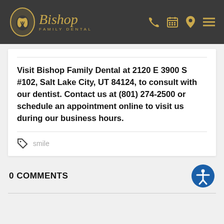Bishop Family Dental
Visit Bishop Family Dental at 2120 E 3900 S #102, Salt Lake City, UT 84124, to consult with our dentist. Contact us at (801) 274-2500 or schedule an appointment online to visit us during our business hours.
smile
0 COMMENTS